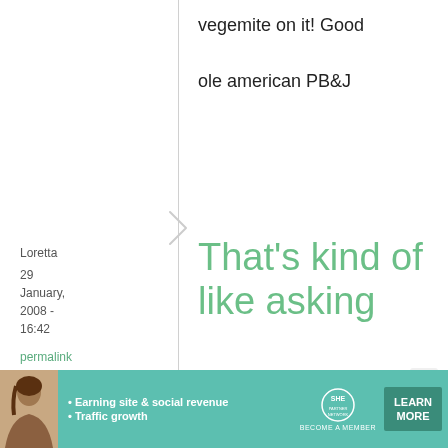vegemite on it! Good ole american PB&J
Loretta
29 January, 2008 - 16:42
permalink
That's kind of like asking
That's kind of like asking why have a burger when a donut will do just
[Figure (infographic): SHE Partner Network advertisement banner with photo of woman, bullet points about Earning site & social revenue and Traffic growth, SHE logo, and Learn More button]